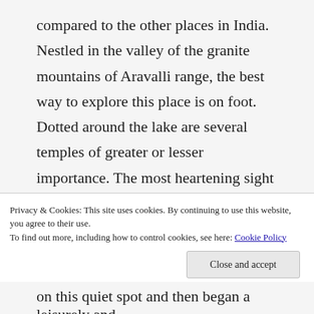compared to the other places in India. Nestled in the valley of the granite mountains of Aravalli range, the best way to explore this place is on foot. Dotted around the lake are several temples of greater or lesser importance. The most heartening sight is to see a temple, situated adjacent to a mosque and facing a Gurudwara ( place of worship for the Sikh religion ); people forget that everyday people just want to live their lives peacefully and quietly and this is the essence of mankind and my country specifically. We took a wrong route to the lake ( thank you Google ) but that led us to
Privacy & Cookies: This site uses cookies. By continuing to use this website, you agree to their use.
To find out more, including how to control cookies, see here: Cookie Policy
on this quiet spot and then began a leisurely and